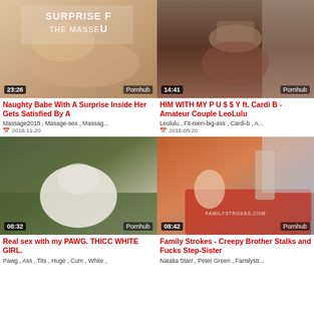[Figure (screenshot): Video thumbnail showing woman on massage table with text 'SURPRISE FOR THE MASSEUR', duration 23:26, Pornhub watermark]
Naughty Babe With A Surprise Inside Her Gets Satisfied By A
Massage2018 , Masage-sex , Massag...
2018-11-20
[Figure (screenshot): Video thumbnail showing woman from behind in underwear near window, duration 14:41, Pornhub watermark]
HIM WITH MY P U $ $ Y ft. Cardi B - Amateur Couple LeoLulu
Leolulu , Fit-teen-big-ass , Cardi-b , A...
2018-05-20
[Figure (screenshot): Video thumbnail showing woman in white leggings from behind on green couch, duration 08:32, Pornhub watermark]
Real sex with my PAWG. THICC WHITE GIRL.
Pawg , Ass , Tits , Huge , Cum , White ,
[Figure (screenshot): Video thumbnail showing man on red couch and woman in shorts standing, familystrokes.com watermark, duration 08:42, Pornhub watermark]
Family Strokes - Creepy Brother Stalks and Fucks Step-Sister
Natalia Starr , Peter Green , Familystr...